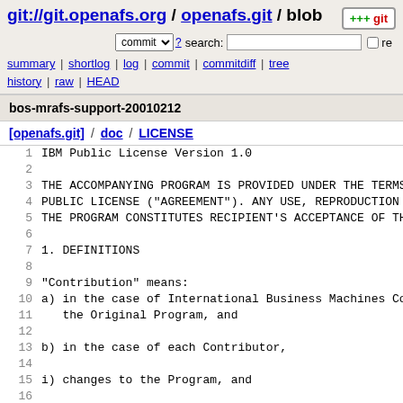git://git.openafs.org / openafs.git / blob
commit search: re
summary | shortlog | log | commit | commitdiff | tree history | raw | HEAD
bos-mrafs-support-20010212
[openafs.git] / doc / LICENSE
1   IBM Public License Version 1.0
2
3   THE ACCOMPANYING PROGRAM IS PROVIDED UNDER THE TERMS
4   PUBLIC LICENSE ("AGREEMENT"). ANY USE, REPRODUCTION
5   THE PROGRAM CONSTITUTES RECIPIENT'S ACCEPTANCE OF TH
6
7   1. DEFINITIONS
8
9   "Contribution" means:
10  a) in the case of International Business Machines Co
11     the Original Program, and
12
13  b) in the case of each Contributor,
14
15  i) changes to the Program, and
16
17  ii) additions to the Program;
18
19  where such changes and/or additions to the Program...